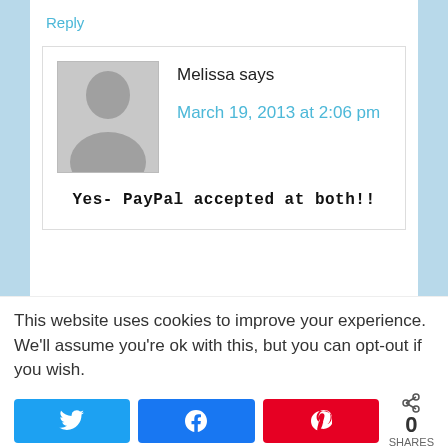Reply
[Figure (illustration): Generic user avatar placeholder — grey silhouette of a person on light grey background]
Melissa says
March 19, 2013 at 2:06 pm
Yes- PayPal accepted at both!!
This website uses cookies to improve your experience. We'll assume you're ok with this, but you can opt-out if you wish.
0 SHARES